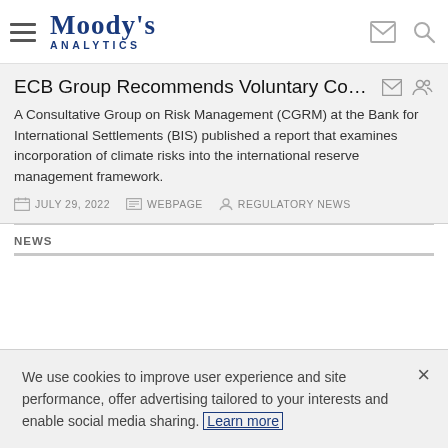Moody's Analytics
ECB Group Recommends Voluntary Com...
A Consultative Group on Risk Management (CGRM) at the Bank for International Settlements (BIS) published a report that examines incorporation of climate risks into the international reserve management framework.
JULY 29, 2022   WEBPAGE   REGULATORY NEWS
NEWS
We use cookies to improve user experience and site performance, offer advertising tailored to your interests and enable social media sharing. Learn more